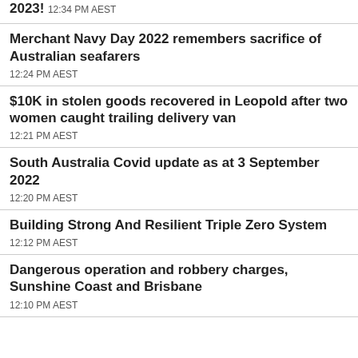2023!
12:34 PM AEST
Merchant Navy Day 2022 remembers sacrifice of Australian seafarers
12:24 PM AEST
$10K in stolen goods recovered in Leopold after two women caught trailing delivery van
12:21 PM AEST
South Australia Covid update as at 3 September 2022
12:20 PM AEST
Building Strong And Resilient Triple Zero System
12:12 PM AEST
Dangerous operation and robbery charges, Sunshine Coast and Brisbane
12:10 PM AEST